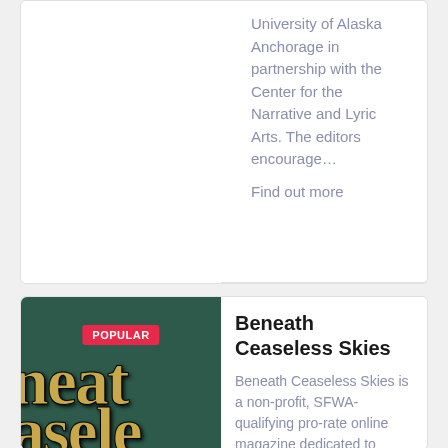University of Alaska Anchorage in partnership with the Center for the Narrative and Lyric Arts. The editors encourage… Find out more
[Figure (illustration): Book cover thumbnail for Beneath Ceaseless Skies, showing stylized golden text on dark teal background]
Beneath Ceaseless Skies
Beneath Ceaseless Skies is a non-profit, SFWA-qualifying pro-rate online magazine dedicated to publishing literary adventure...